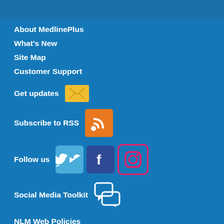About MedlinePlus
What's New
Site Map
Customer Support
Get updates
Subscribe to RSS
Follow us
Social Media Toolkit
NLM Web Policies
Copyright
Accessibility
Guidelines for Links
Viewers & Players
HHS Vulnerability Disclosure